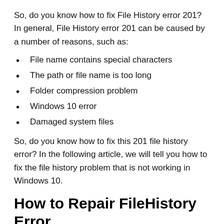So, do you know how to fix File History error 201? In general, File History error 201 can be caused by a number of reasons, such as:
File name contains special characters
The path or file name is too long
Folder compression problem
Windows 10 error
Damaged system files
So, do you know how to fix this 201 file history error? In the following article, we will tell you how to fix the file history problem that is not working in Windows 10.
How to Repair FileHistory Error